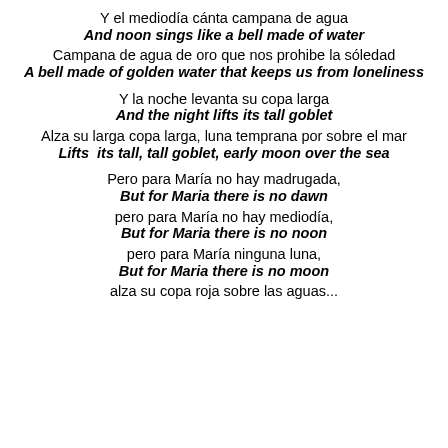Y el mediodía cánta campana de agua
And noon sings like a bell made of water
Campana de agua de oro que nos prohibe la sóledad
A bell made of golden water that keeps us from loneliness
Y la noche levanta su copa larga
And the night lifts its tall goblet
Alza su larga copa larga, luna temprana por sobre el mar
Lifts  its tall, tall goblet, early moon over the sea
Pero para María no hay madrugada,
But for Maria there is no dawn
pero para María no hay mediodía,
But for Maria there is no noon
pero para María ninguna luna,
But for Maria there is no moon
alza su copa roja sobre las aguas...